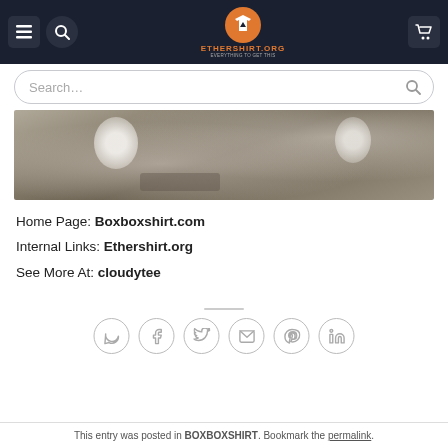ETHERSHIRT.ORG — Navigation header with menu, search, and cart icons
[Figure (screenshot): Search bar with placeholder text 'Search...' and magnifying glass icon]
[Figure (photo): Blurred product photo showing rounded silver/white objects on a dark background]
Home Page: Boxboxshirt.com
Internal Links: Ethershirt.org
See More At: cloudytee
[Figure (infographic): Row of social sharing icons: WhatsApp, Facebook, Twitter, Email, Pinterest, LinkedIn — all circular outlined buttons]
This entry was posted in BOXBOXSHIRT. Bookmark the permalink.